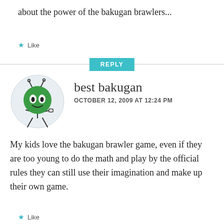about the power of the bakugan brawlers...
★ Like
REPLY
[Figure (illustration): Cartoon alien/robot character with a round green head, big eyes, antennae, and stick-figure body inside a light blue-grey circle]
best bakugan
OCTOBER 12, 2009 AT 12:24 PM
My kids love the bakugan brawler game, even if they are too young to do the math and play by the official rules they can still use their imagination and make up their own game.
★ Like